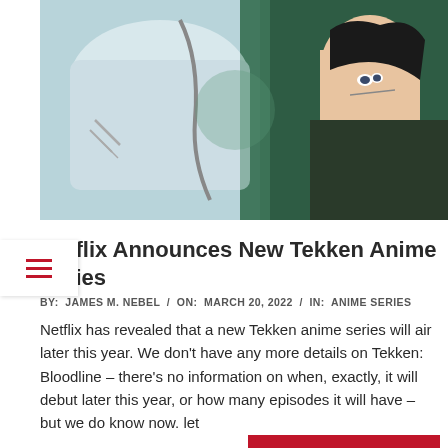[Figure (illustration): Anime-style illustration showing a character lying down, with teal/green tones and another character visible. Top banner image for Tekken anime article.]
Netflix Announces New Tekken Anime Series
BY:  JAMES M. NEBEL  /  ON:  MARCH 20, 2022  /  IN:  ANIME SERIES
Netflix has revealed that a new Tekken anime series will air later this year. We don't have any more details on Tekken: Bloodline – there's no information on when, exactly, it will debut later this year, or how many episodes it will have – but we do know now. let
READ MORE →
[Figure (illustration): Three manga/anime style images shown side by side at the bottom: left shows a curly-haired character in black and white manga style, center shows action lines with dark jagged shapes, right shows a character with white/silver hair.]